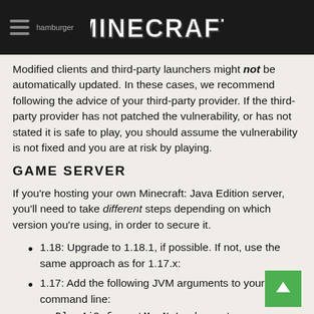hamburger [icon] MINECRAFT
Modified clients and third-party launchers might not be automatically updated. In these cases, we recommend following the advice of your third-party provider. If the third-party provider has not patched the vulnerability, or has not stated it is safe to play, you should assume the vulnerability is not fixed and you are at risk by playing.
GAME SERVER
If you're hosting your own Minecraft: Java Edition server, you'll need to take different steps depending on which version you're using, in order to secure it.
1.18: Upgrade to 1.18.1, if possible. If not, use the same approach as for 1.17.x:
1.17: Add the following JVM arguments to your startup command line:
-Dlog4j2.formatMsgNoLookups=true